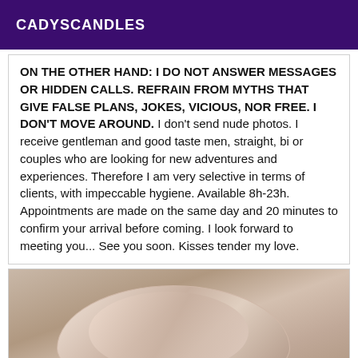CADYSCANDLES
ON THE OTHER HAND: I DO NOT ANSWER MESSAGES OR HIDDEN CALLS. REFRAIN FROM MYTHS THAT GIVE FALSE PLANS, JOKES, VICIOUS, NOR FREE. I DON'T MOVE AROUND. I don't send nude photos. I receive gentleman and good taste men, straight, bi or couples who are looking for new adventures and experiences. Therefore I am very selective in terms of clients, with impeccable hygiene. Available 8h-23h. Appointments are made on the same day and 20 minutes to confirm your arrival before coming. I look forward to meeting you... See you soon. Kisses tender my love.
[Figure (photo): Close-up photograph showing fabric or lingerie with a crackle/map pattern in light pink and white tones against skin-toned background]